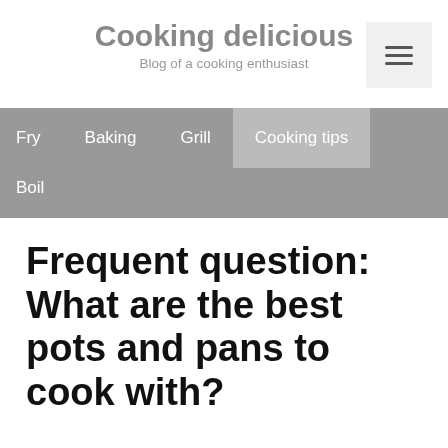Cooking delicious
Blog of a cooking enthusiast
Fry   Baking   Grill   Cooking tips   Boil
Frequent question: What are the best pots and pans to cook with?